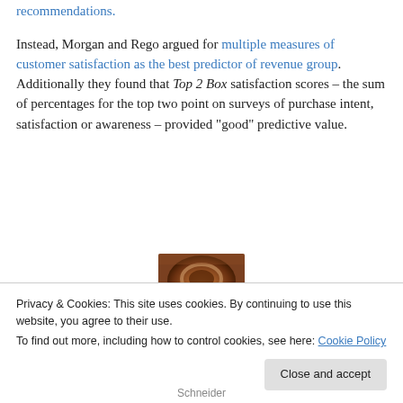for actual behavior: in average number of recommendations.
Instead, Morgan and Rego argued for multiple measures of customer satisfaction as the best predictor of revenue group. Additionally they found that Top 2 Box satisfaction scores – the sum of percentages for the top two point on surveys of purchase intent, satisfaction or awareness – provided “good” predictive value.
[Figure (photo): Partial photo of a circular object, brownish/orange tones, cropped at top of cookie banner]
Privacy & Cookies: This site uses cookies. By continuing to use this website, you agree to their use.
To find out more, including how to control cookies, see here: Cookie Policy
Close and accept
Schneider